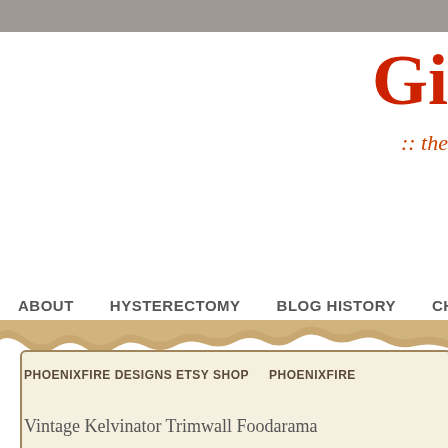Gi
:: the
ABOUT
HYSTERECTOMY
BLOG HISTORY
CH
PHOENIXFIRE DESIGNS ETSY SHOP
PHOENIXFIRE
Vintage Kelvinator Trimwall Foodarama